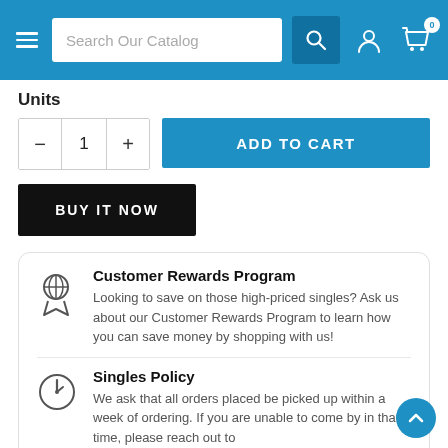[Figure (screenshot): E-commerce navigation bar with hamburger menu, search bar, user icon, and cart icon with badge showing 0]
Units
[Figure (other): Quantity selector with minus, 1, plus buttons and ADD TO CART button]
[Figure (other): BUY IT NOW button]
Customer Rewards Program
Looking to save on those high-priced singles? Ask us about our Customer Rewards Program to learn how you can save money by shopping with us!
Singles Policy
We ask that all orders placed be picked up within a week of ordering. If you are unable to come by in that time, please reach out to